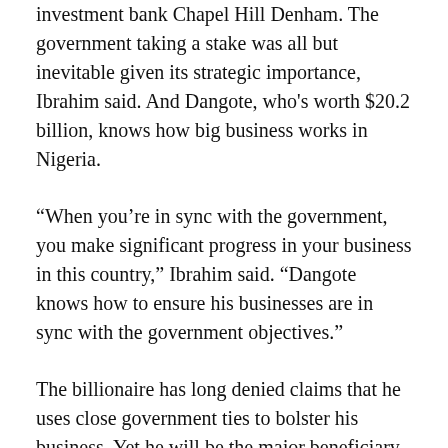investment bank Chapel Hill Denham. The government taking a stake was all but inevitable given its strategic importance, Ibrahim said. And Dangote, who's worth $20.2 billion, knows how big business works in Nigeria.
“When you’re in sync with the government, you make significant progress in your business in this country,” Ibrahim said. “Dangote knows how to ensure his businesses are in sync with the government objectives.”
The billionaire has long denied claims that he uses close government ties to bolster his business. Yet he will be the major beneficiary of provisions in Nigeria’s recently passed Petroleum Industry Act that restrict the license to import refined products for the purpose of covering any shortfalls in local supply to companies with active local refining capacity, said Ayodele Oni, partner at Bloomfield Law Practice in Lagos.
Dangote has a lot riding on the refinery, which was financed by retained profit from Dangote Group’s other